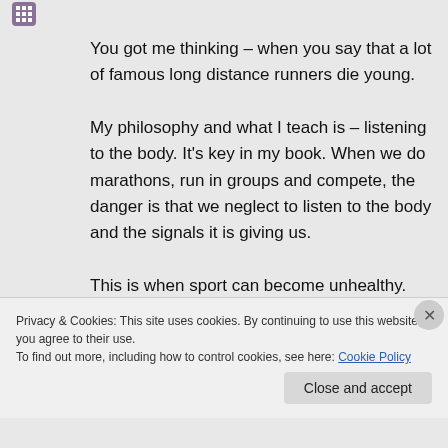[Figure (logo): Small decorative logo/icon in top left area]
You got me thinking – when you say that a lot of famous long distance runners die young. My philosophy and what I teach is – listening to the body. It's key in my book. When we do marathons, run in groups and compete, the danger is that we neglect to listen to the body and the signals it is giving us. This is when sport can become unhealthy.
Privacy & Cookies: This site uses cookies. By continuing to use this website, you agree to their use. To find out more, including how to control cookies, see here: Cookie Policy
Close and accept